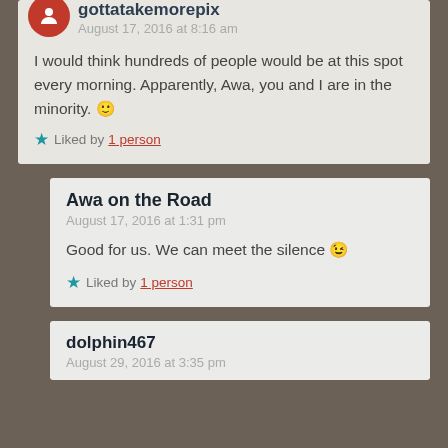gottatakemorepix
August 17, 2016 at 8:16 am
I would think hundreds of people would be at this spot every morning. Apparently, Awa, you and I are in the minority. 🙂
Liked by 1 person
Awa on the Road
August 17, 2016 at 1:31 pm
Good for us. We can meet the silence 😉
Liked by 1 person
dolphin467
August 29, 2016 at 3:35 pm